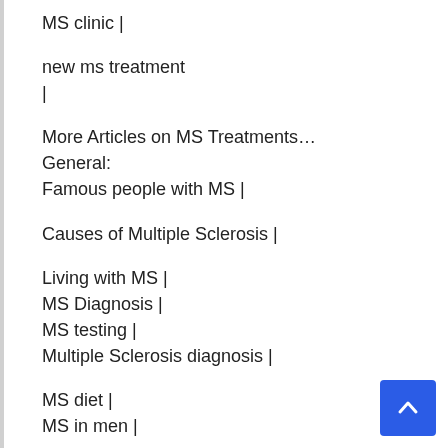MS clinic |
new ms treatment
|
More Articles on MS Treatments…
General:
Famous people with MS |
Causes of Multiple Sclerosis |
Living with MS |
MS Diagnosis |
MS testing |
Multiple Sclerosis diagnosis |
MS diet |
MS in men |